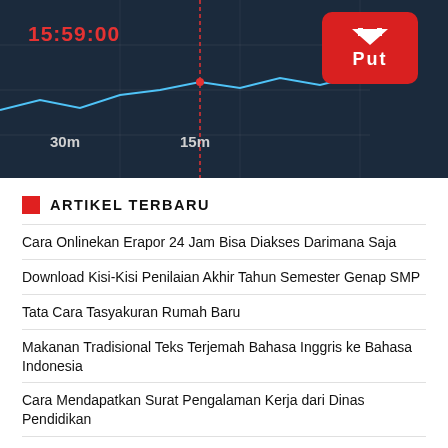[Figure (screenshot): Trading interface screenshot showing time 15:59:00, chart with 30m and 15m duration labels, and a red PUT button in the top right corner]
ARTIKEL TERBARU
Cara Onlinekan Erapor 24 Jam Bisa Diakses Darimana Saja
Download Kisi-Kisi Penilaian Akhir Tahun Semester Genap SMP
Tata Cara Tasyakuran Rumah Baru
Makanan Tradisional Teks Terjemah Bahasa Inggris ke Bahasa Indonesia
Cara Mendapatkan Surat Pengalaman Kerja dari Dinas Pendidikan
Apakah Binary Option Judi?
Cara Mengajar Kalimat Pasif dengan Konteks
Tahapan Pengangkatan PPPK yang Lulus Seleksi